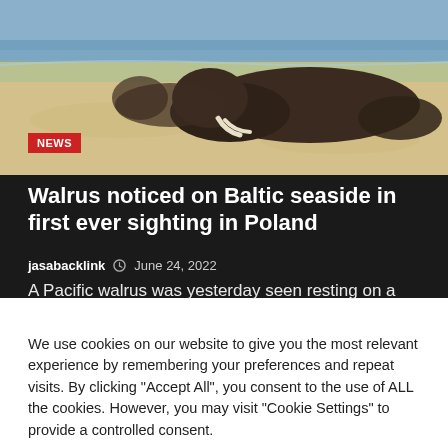[Figure (photo): A Pacific walrus resting on a sandy beach near the water's edge, with blue sea in the background. A NEWS badge overlays the lower-left corner of the image.]
Walrus noticed on Baltic seaside in first ever sighting in Poland
jasabacklink  © June 24, 2022
A Pacific walrus was yesterday seen resting on a
We use cookies on our website to give you the most relevant experience by remembering your preferences and repeat visits. By clicking "Accept All", you consent to the use of ALL the cookies. However, you may visit "Cookie Settings" to provide a controlled consent.